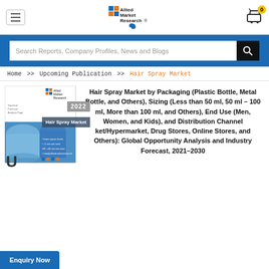Allied Market Research - Hair Spray Market page header with logo and cart
Search Reports, Company Profiles, News and Blogs
Home >> Upcoming Publication >> Hair Spray Market
[Figure (illustration): Hair Spray Market 2022 report cover with Allied Market Research branding, blue background, 2022 grey badge, Hair Spray Market title overlay, and large letter U]
Hair Spray Market by Packaging (Plastic Bottle, Metal Bottle, and Others), Sizing (Less than 50 ml, 50 ml – 100 ml, More than 100 ml, and Others), End Use (Men, Women, and Kids), and Distribution Channel (Supermarket/Hypermarket, Drug Stores, Online Stores, and Others): Global Opportunity Analysis and Industry Forecast, 2021–2030
Enquiry Now